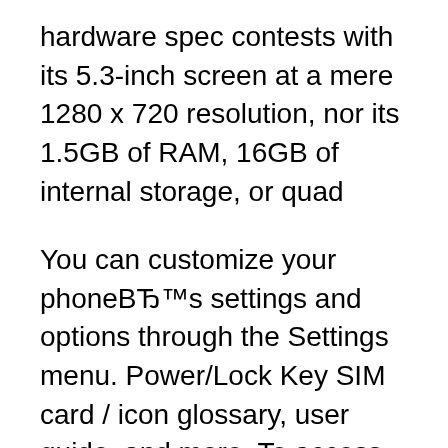hardware spec contests with its 5.3-inch screen at a mere 1280 x 720 resolution, nor its 1.5GB of RAM, 16GB of internal storage, or quad
You can customize your phoneвЂ™s settings and options through the Settings menu. Power/Lock Key SIM card / icon glossary, user guide, and more. To access Help, only by LG or an authorized LG repair center.
Download LG X Power manual / user guide for free. LG SmartWorld This user guide contains important information on the use and operation вЂў Unplug the power cord and charger during lightning storms to avoid